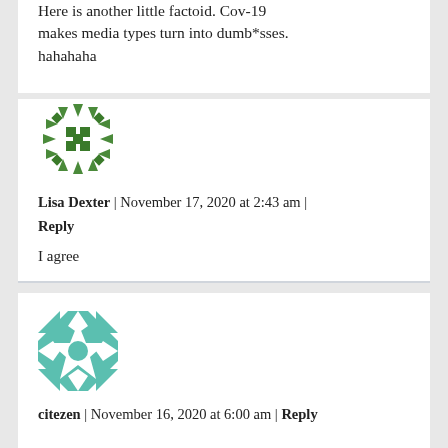Here is another little factoid. Cov-19 makes media types turn into dumb*sses. hahahaha
[Figure (illustration): Green geometric avatar icon made of triangles and squares in a symmetrical snowflake pattern]
Lisa Dexter | November 17, 2020 at 2:43 am | Reply
I agree
[Figure (illustration): Teal/green geometric avatar icon with star and quilt pattern made of triangles]
citezen | November 16, 2020 at 6:00 am | Reply